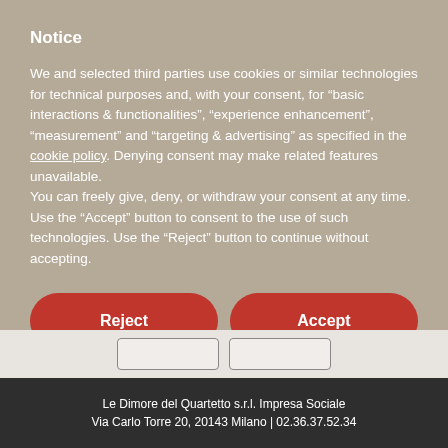Notice
We and selected third parties use cookies or similar technologies for technical purposes and, with your consent, for “basic interactions & functionalities”, “experience enhancement”, “measurement” and “targeting & advertising” as specified in the cookie policy. Denying consent may make related features unavailable.
You can freely give, deny, or withdraw your consent at any time. Use the “Accept” button to consent to the use of such technologies. Use the “Reject” button to continue without accepting.
Reject
Accept
Learn more and customize
Le Dimore del Quartetto s.r.l. Impresa Sociale
Via Carlo Torre 20, 20143 Milano | 02.36.37.52.34